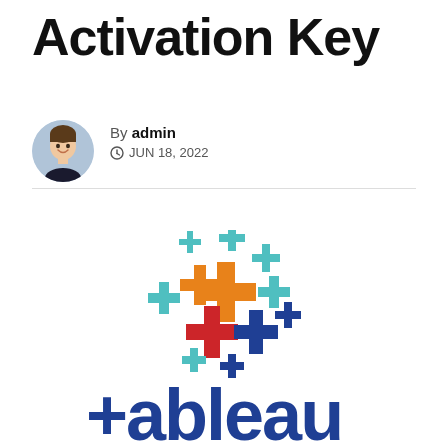Activation Key
By admin
JUN 18, 2022
[Figure (logo): Tableau logo consisting of colorful plus signs arranged in a cluster above the text 'tableau' in dark blue]